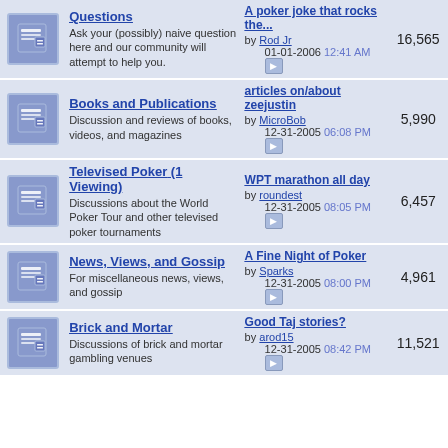| Icon | Forum | Last Post | Count |
| --- | --- | --- | --- |
| [icon] | Questions
Ask your (possibly) naive question here and our community will attempt to help you. | A poker joke that rocks the...
by Rod Jr
01-01-2006 12:41 AM | 16,565 |
| [icon] | Books and Publications
Discussion and reviews of books, videos, and magazines | articles on/about zeejustin
by MicroBob
12-31-2005 06:08 PM | 5,990 |
| [icon] | Televised Poker (1 Viewing)
Discussions about the World Poker Tour and other televised poker tournaments | WPT marathon all day
by roundest
12-31-2005 08:05 PM | 6,457 |
| [icon] | News, Views, and Gossip
For miscellaneous news, views, and gossip | A Fine Night of Poker
by Sparks
12-31-2005 08:00 PM | 4,961 |
| [icon] | Brick and Mortar
Discussions of brick and mortar gambling venues | Good Taj stories?
by arod15
12-31-2005 08:42 PM | 11,521 |